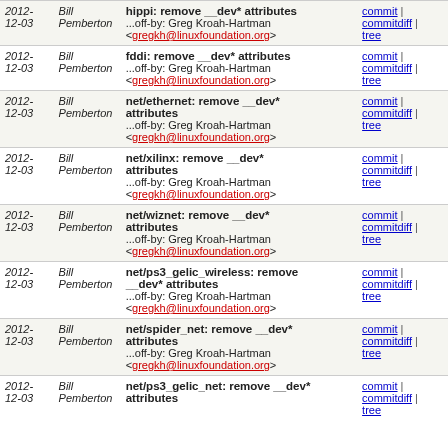| Date | Author | Message | Links |
| --- | --- | --- | --- |
| 2012-12-03 | Bill Pemberton | hippi: remove __dev* attributes ...off-by: Greg Kroah-Hartman <gregkh@linuxfoundation.org> | commit | commitdiff | tree |
| 2012-12-03 | Bill Pemberton | fddi: remove __dev* attributes ...off-by: Greg Kroah-Hartman <gregkh@linuxfoundation.org> | commit | commitdiff | tree |
| 2012-12-03 | Bill Pemberton | net/ethernet: remove __dev* attributes ...off-by: Greg Kroah-Hartman <gregkh@linuxfoundation.org> | commit | commitdiff | tree |
| 2012-12-03 | Bill Pemberton | net/xilinx: remove __dev* attributes ...off-by: Greg Kroah-Hartman <gregkh@linuxfoundation.org> | commit | commitdiff | tree |
| 2012-12-03 | Bill Pemberton | net/wiznet: remove __dev* attributes ...off-by: Greg Kroah-Hartman <gregkh@linuxfoundation.org> | commit | commitdiff | tree |
| 2012-12-03 | Bill Pemberton | net/ps3_gelic_wireless: remove __dev* attributes ...off-by: Greg Kroah-Hartman <gregkh@linuxfoundation.org> | commit | commitdiff | tree |
| 2012-12-03 | Bill Pemberton | net/spider_net: remove __dev* attributes ...off-by: Greg Kroah-Hartman <gregkh@linuxfoundation.org> | commit | commitdiff | tree |
| 2012-12-03 | Bill Pemberton | net/ps3_gelic_net: remove __dev* attributes | commit | commitdiff | tree |